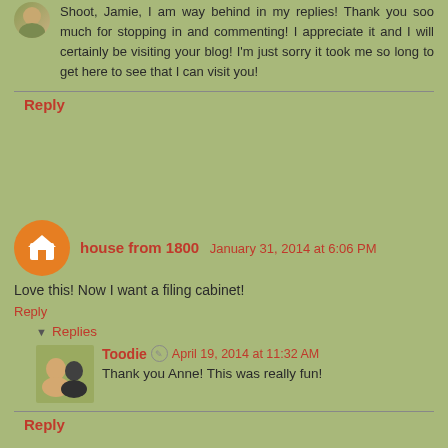Shoot, Jamie, I am way behind in my replies! Thank you soo much for stopping in and commenting! I appreciate it and I will certainly be visiting your blog! I'm just sorry it took me so long to get here to see that I can visit you!
Reply
house from 1800  January 31, 2014 at 6:06 PM
Love this! Now I want a filing cabinet!
Reply
Replies
Toodie  April 19, 2014 at 11:32 AM
Thank you Anne! This was really fun!
Reply